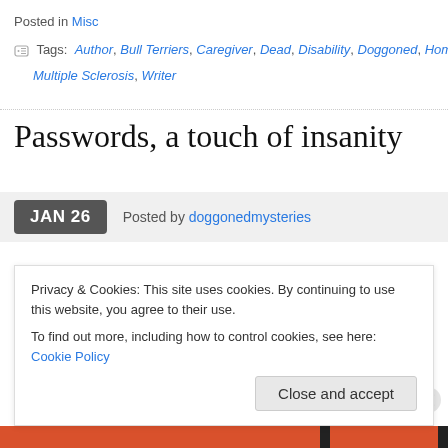Posted in Misc
Tags: Author, Bull Terriers, Caregiver, Dead, Disability, Doggoned, Home, Multiple Sclerosis, Writer
Passwords, a touch of insanity
JAN 26  Posted by doggonedmysteries
How many passwords do you have?  I've changed all of mine.  If a new ones, I'd be residing in the nut hut.  I don't have passwords by the several.  Most places today require a minimum of 8 characters and at l number.
Privacy & Cookies: This site uses cookies. By continuing to use this website, you agree to their use.
To find out more, including how to control cookies, see here: Cookie Policy
Close and accept